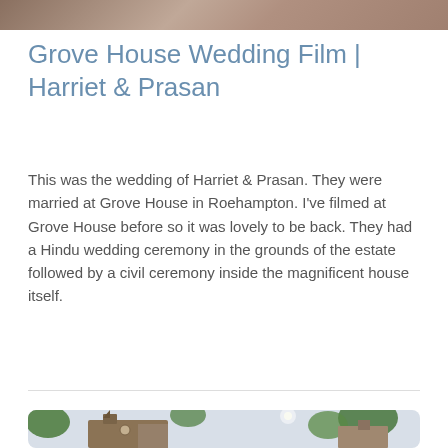[Figure (photo): Partial top photo showing hands with a ring, cropped at the top of the page]
Grove House Wedding Film | Harriet & Prasan
This was the wedding of Harriet & Prasan. They were married at Grove House in Roehampton. I've filmed at Grove House before so it was lovely to be back. They had a Hindu wedding ceremony in the grounds of the estate followed by a civil ceremony inside the magnificent house itself.
[Figure (photo): Exterior photo of Grove House in Roehampton, showing a Victorian-style brick building with towers and a clock, framed by green trees, viewed from below]